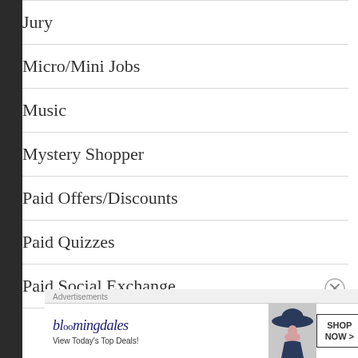Jury
Micro/Mini Jobs
Music
Mystery Shopper
Paid Offers/Discounts
Paid Quizzes
Paid Social Exchange
[Figure (photo): Bloomingdale's advertisement banner showing a woman in a wide-brim hat with 'View Today's Top Deals!' tagline and 'SHOP NOW >' call to action button]